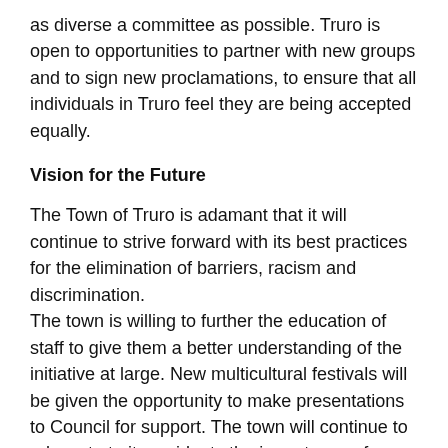as diverse a committee as possible. Truro is open to opportunities to partner with new groups and to sign new proclamations, to ensure that all individuals in Truro feel they are being accepted equally.
Vision for the Future
The Town of Truro is adamant that it will continue to strive forward with its best practices for the elimination of barriers, racism and discrimination.
The town is willing to further the education of staff to give them a better understanding of the initiative at large. New multicultural festivals will be given the opportunity to make presentations to Council for support. The town will continue to advocate to its residents the importance of eliminating barriers